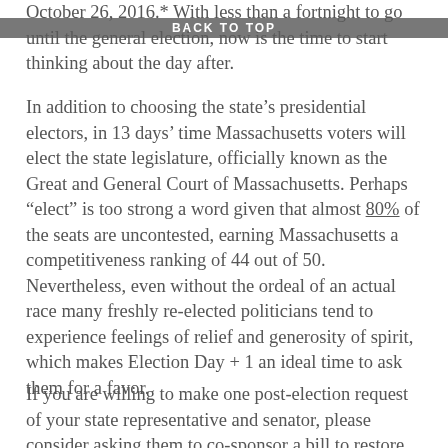October 26, 2016.* With less than a fortnight to go until the general election, now is the time to start thinking about the day after.
BACK TO TOP
In addition to choosing the state's presidential electors, in 13 days' time Massachusetts voters will elect the state legislature, officially known as the Great and General Court of Massachusetts. Perhaps “elect” is too strong a word given that almost 80% of the seats are uncontested, earning Massachusetts a competitiveness ranking of 44 out of 50. Nevertheless, even without the ordeal of an actual race many freshly re-elected politicians tend to experience feelings of relief and generosity of spirit, which makes Election Day + 1 an ideal time to ask them for a favor.
If you are willing to make one post-election request of your state representative and senator, please consider asking them to co-sponsor a bill to restore some balance